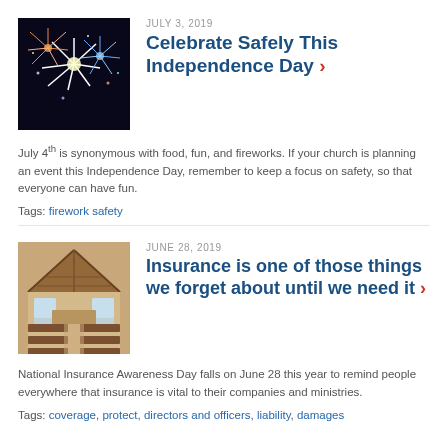JULY 3, 2019
Celebrate Safely This Independence Day ›
July 4th is synonymous with food, fun, and fireworks. If your church is planning an event this Independence Day, remember to keep a focus on safety, so that everyone can have fun.
Tags: firework safety
JUNE 28, 2019
Insurance is one of those things we forget about until we need it ›
National Insurance Awareness Day falls on June 28 this year to remind people everywhere that insurance is vital to their companies and ministries.
Tags: coverage, protect, directors and officers, liability, damages